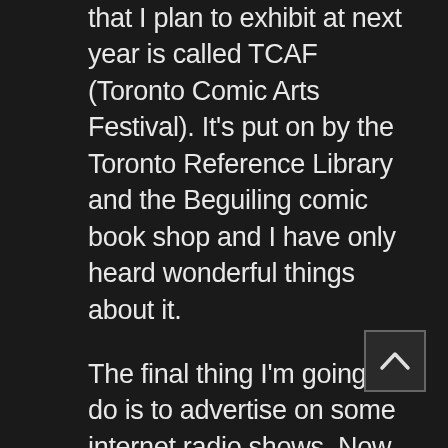that I plan to exhibit at next year is called TCAF (Toronto Comic Arts Festival). It's put on by the Toronto Reference Library and the Beguiling comic book shop and I have only heard wonderful things about it.
The final thing I'm going to do is to advertise on some internet radio shows. Now advertising has its pros and cons and there are some people out there that would steer you away from it Even with all of the warnings though, I'm going to give it a shot The internet radio shows aren't typically owned by large corporations and their advertising rates won't blow my budget all the way to Jupiter. Taking that into